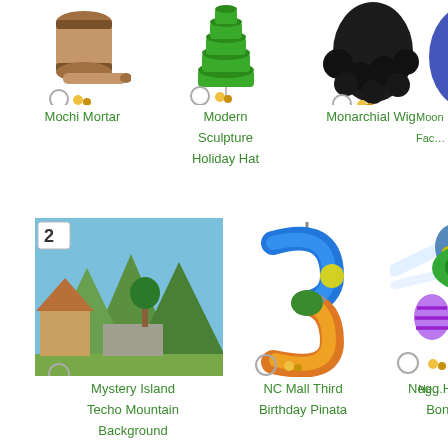[Figure (illustration): Mochi Mortar item icon - wooden barrel/mortar]
Mochi Mortar
[Figure (illustration): Modern Sculpture Holiday Hat item icon - green layered cake/hat]
Modern Sculpture Holiday Hat
[Figure (illustration): Monarchial Wig item icon - black curly wig]
Monarchial Wig
[Figure (illustration): Moon Face item (partially visible) - blue tentacle-like shape]
Moon Fac…
[Figure (illustration): Mystery Island Techo Mountain Background - island scene with mountains]
Mystery Island Techo Mountain Background
[Figure (illustration): NC Mall Third Birthday Pinata - colorful number 3 pinata]
NC Mall Third Birthday Pinata
[Figure (illustration): Negg Head Bonk - Easter eggs with sparkles]
Negg Head Bonk
[Figure (illustration): Ne… item partially visible - green ring/bracelet]
Ne…
[Figure (illustration): Number 2 Balloon - red balloon shaped like number 2 with red dots]
Number 2 Balloon
[Figure (illustration): Old Picket Fence - broken dark wooden fence]
Old Picket Fence
[Figure (illustration): Overflowing Suitcase - brown suitcase with items spilling out]
Overflowing Suitcase
[Figure (illustration): Paint… item partially visible - paint splatter]
Paint…